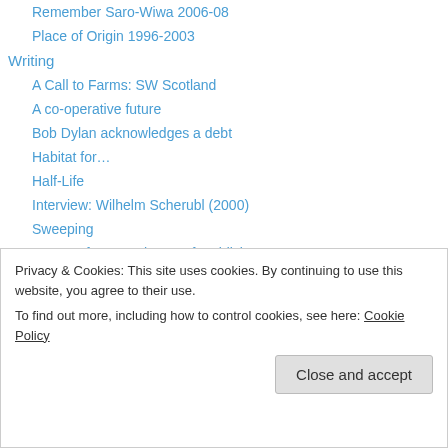Remember Saro-Wiwa 2006-08
Place of Origin 1996-2003
Writing
A Call to Farms: SW Scotland
A co-operative future
Bob Dylan acknowledges a debt
Habitat for…
Half-Life
Interview: Wilhelm Scherubl (2000)
Sweeping
Iron Conference: the art of recidivism?
Place of Origin
John Latham
Two violences
Privacy & Cookies: This site uses cookies. By continuing to use this website, you agree to their use.
To find out more, including how to control cookies, see here: Cookie Policy